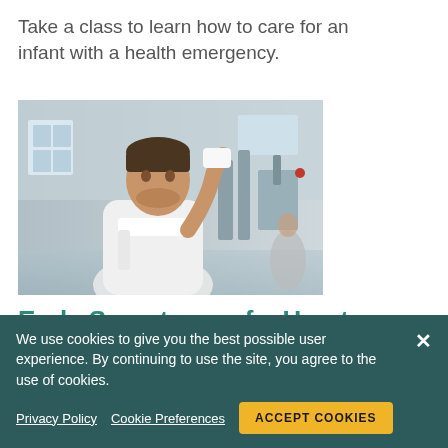Take a class to learn how to care for an infant with a health emergency.
[Figure (photo): A man in a white t-shirt with a towel around his neck, wiping his forehead in a gym setting, looking fatigued.]
Early Symptoms of a Heart Attack
Know what symptoms to look for to identify
We use cookies to give you the best possible user experience. By continuing to use the site, you agree to the use of cookies.
Privacy Policy   Cookie Preferences   ACCEPT COOKIES